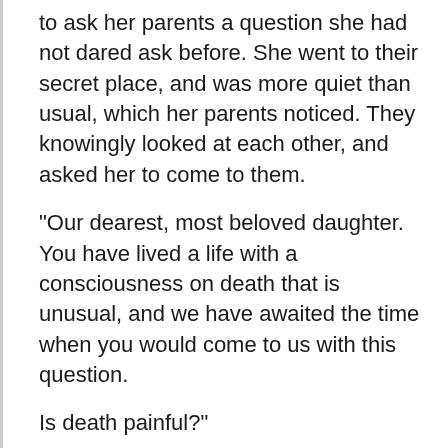to ask her parents a question she had not dared ask before. She went to their secret place, and was more quiet than usual, which her parents noticed. They knowingly looked at each other, and asked her to come to them.
"Our dearest, most beloved daughter. You have lived a life with a consciousness on death that is unusual, and we have awaited the time when you would come to us with this question.
Is death painful?"
The girl nodded, for this was the exact question that she had prepared to ask.
"Death is never painful. The path onto death may be painful for some, but death is not.